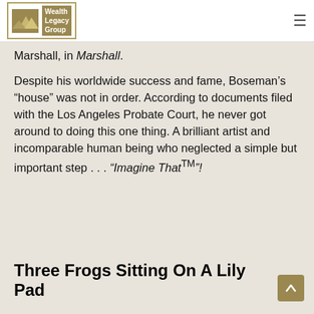Wealth Legacy Group
Marshall, in Marshall.
Despite his worldwide success and fame, Boseman's “house” was not in order. According to documents filed with the Los Angeles Probate Court, he never got around to doing this one thing. A brilliant artist and incomparable human being who neglected a simple but important step . . . “Imagine That™”!
Three Frogs Sitting On A Lily Pad